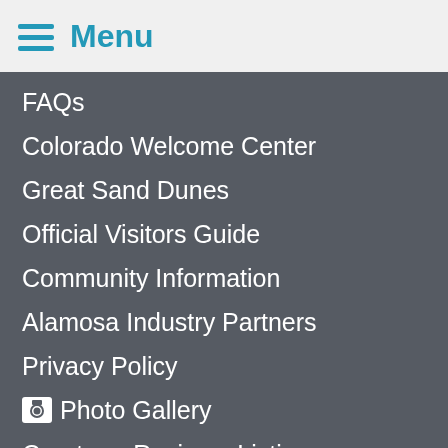Menu
FAQs
Colorado Welcome Center
Great Sand Dunes
Official Visitors Guide
Community Information
Alamosa Industry Partners
Privacy Policy
Photo Gallery
Create or Revise a Listing
Contact Us
Maps